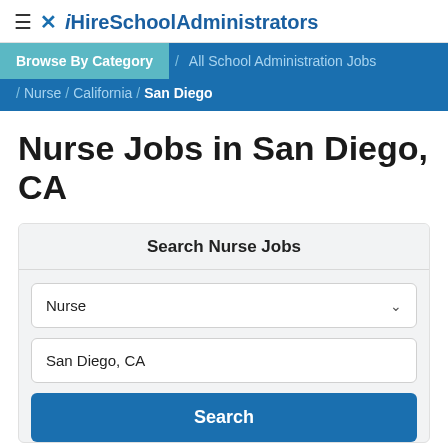≡ ✕ iHireSchoolAdministrators
Browse By Category / All School Administration Jobs / Nurse / California / San Diego
Nurse Jobs in San Diego, CA
Search Nurse Jobs
Nurse
San Diego, CA
Search
1-10 of 10 Jobs